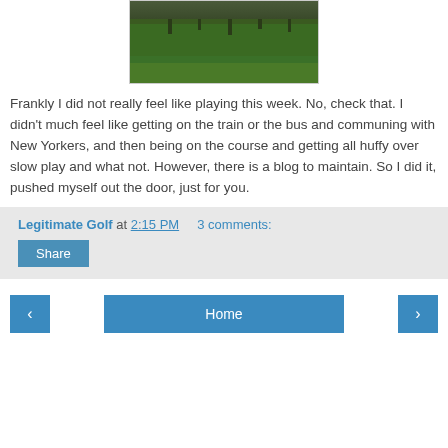[Figure (photo): Aerial or ground-level view of a green golf course fairway with trees in the background]
Frankly I did not really feel like playing this week. No, check that. I didn't much feel like getting on the train or the bus and communing with New Yorkers, and then being on the course and getting all huffy over slow play and what not. However, there is a blog to maintain. So I did it, pushed myself out the door, just for you.
Legitimate Golf at 2:15 PM   3 comments:
Share
‹   Home   ›